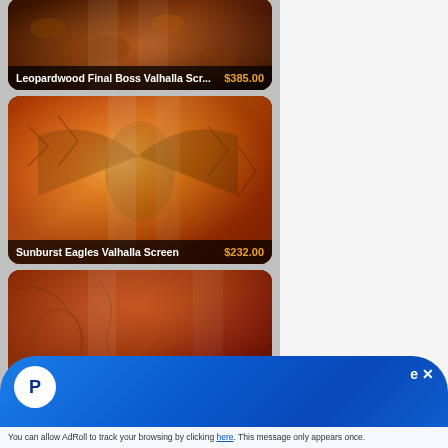[Figure (photo): Product card: Leopardwood Final Boss Valhalla Screen priced at $385.00, partially visible at top of page]
Leopardwood Final Boss Valhalla Scr... $385.00
[Figure (photo): Product card: Sunburst Eagles Valhalla Screen priced at $232.00, colorful orange and gold engraved wood screen]
Sunburst Eagles Valhalla Screen $232.00
[Figure (photo): Product card: partially visible at bottom, engraved wood screen product]
[Figure (other): PayPal promotional banner overlay at the bottom of the page with PayPal logo and close button]
You can allow AdRoll by clicking here. This message only appears once.